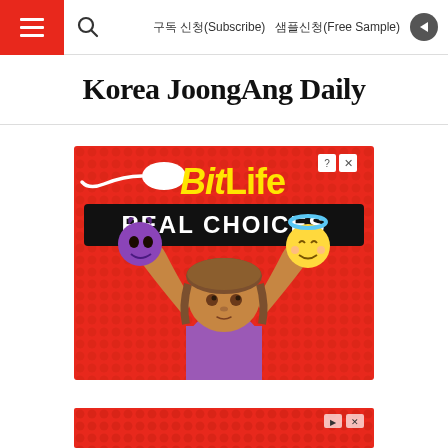구독 신청(Subscribe)   샘플신청(Free Sample)
Korea JoongAng Daily
[Figure (illustration): BitLife app advertisement on red background showing a cartoon girl holding a devil emoji in one hand and an angel emoji in the other hand, with 'BitLife' logo in yellow and 'REAL CHOICES' in white text on a black bar.]
[Figure (illustration): Second advertisement banner partially visible at the bottom of the page, red background.]